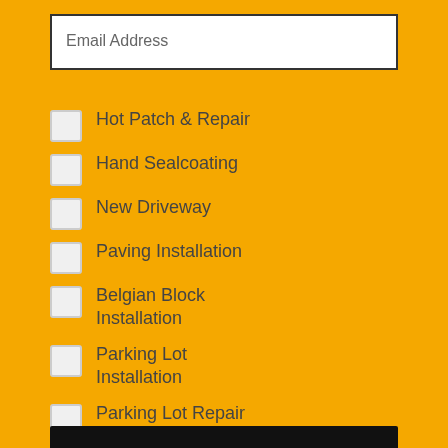Email Address
Hot Patch & Repair
Hand Sealcoating
New Driveway
Paving Installation
Belgian Block Installation
Parking Lot Installation
Parking Lot Repair